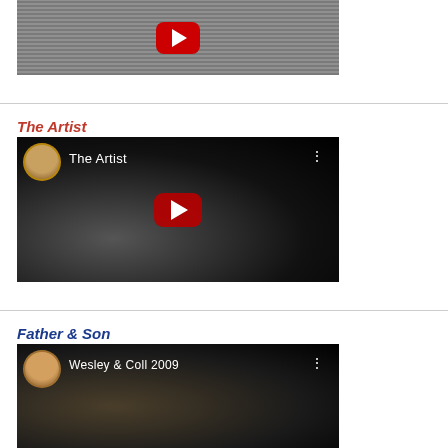[Figure (screenshot): YouTube video thumbnail with gray horizontal lines background and red YouTube play button at top]
The Artist
[Figure (screenshot): YouTube video thumbnail titled 'The Artist' showing black and white photo with circular avatar of person with glasses, red play button center]
Father & Son
[Figure (screenshot): YouTube video thumbnail titled 'Wesley & Coll 2009' showing person with glasses, dark background]